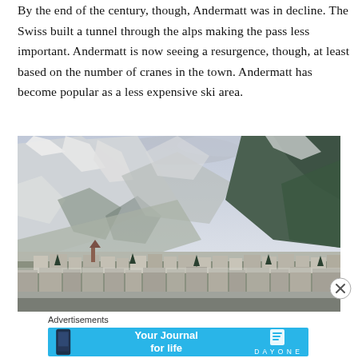By the end of the century, though, Andermatt was in decline. The Swiss built a tunnel through the alps making the pass less important. Andermatt is now seeing a resurgence, though, at least based on the number of cranes in the town. Andermatt has become popular as a less expensive ski area.
[Figure (photo): Aerial/elevated view of Andermatt village in winter, snow-covered Alps mountains in background, buildings with snow-covered rooftops visible in foreground, evergreen trees on right slopes.]
Advertisements
[Figure (screenshot): Day One app advertisement banner in teal/sky blue. Shows a phone with app, text 'Your Journal for life', Day One logo with book icon on right.]